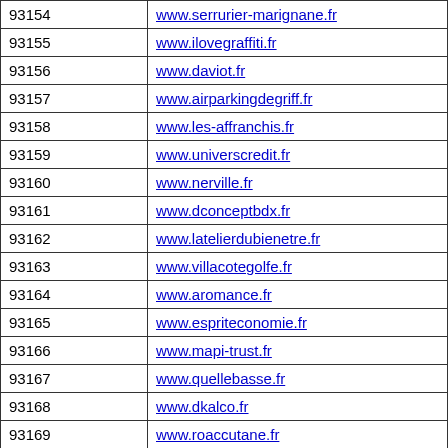| 93154 | www.serrurier-marignane.fr |
| 93155 | www.ilovegraffiti.fr |
| 93156 | www.daviot.fr |
| 93157 | www.airparkingdegriff.fr |
| 93158 | www.les-affranchis.fr |
| 93159 | www.universcredit.fr |
| 93160 | www.nerville.fr |
| 93161 | www.dconceptbdx.fr |
| 93162 | www.latelierdubienetre.fr |
| 93163 | www.villacotegolfe.fr |
| 93164 | www.aromance.fr |
| 93165 | www.espriteconomie.fr |
| 93166 | www.mapi-trust.fr |
| 93167 | www.quellebasse.fr |
| 93168 | www.dkalco.fr |
| 93169 | www.roaccutane.fr |